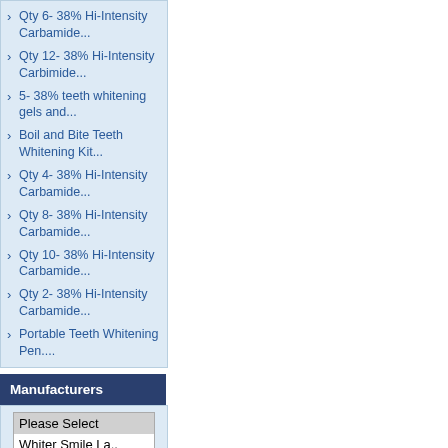Qty 6- 38% Hi-Intensity Carbamide...
Qty 12- 38% Hi-Intensity Carbimide...
5- 38% teeth whitening gels and...
Boil and Bite Teeth Whitening Kit...
Qty 4- 38% Hi-Intensity Carbamide...
Qty 8- 38% Hi-Intensity Carbamide...
Qty 10- 38% Hi-Intensity Carbamide...
Qty 2- 38% Hi-Intensity Carbamide...
Portable Teeth Whitening Pen....
Manufacturers
Please Select
Whiter Smile La..